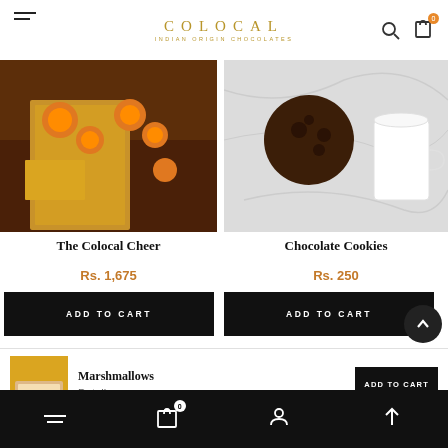COLOCAL — INDIAN ORIGIN CHOCOLATES
[Figure (photo): Product photo for The Colocal Cheer showing marigold flowers, candles, and a gift box on a wooden surface]
[Figure (photo): Product photo for Chocolate Cookies showing a chocolate cookie on a white marble surface with a white cup]
The Colocal Cheer
Chocolate Cookies
Rs. 1,675
Rs. 250
ADD TO CART
ADD TO CART
[Figure (photo): Thumbnail of Marshmallows product showing golden/yellow packaging]
Marshmallows
Details
ADD TO CART
Navigation: Hamburger menu, Cart (0), Account, Scroll up